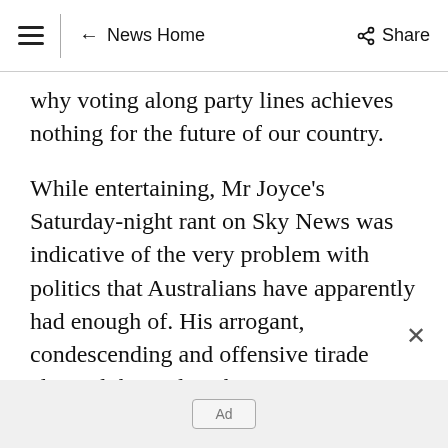≡ | ← News Home   Share
why voting along party lines achieves nothing for the future of our country.
While entertaining, Mr Joyce's Saturday-night rant on Sky News was indicative of the very problem with politics that Australians have apparently had enough of. His arrogant, condescending and offensive tirade claimed that only cabinet ministers can actually do anything in Parliament, and if your member isn't in the cabinet all they can do is write
Ad